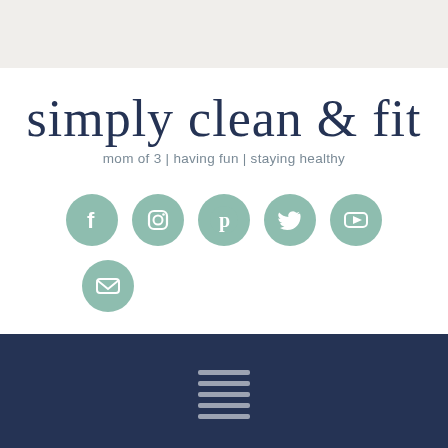simply clean & fit
mom of 3 | having fun | staying healthy
[Figure (logo): Row of circular teal social media icons: Facebook, Instagram, Pinterest, Twitter, YouTube, and Email]
[Figure (other): Dark navy footer bar with hamburger menu icon (three horizontal lines)]